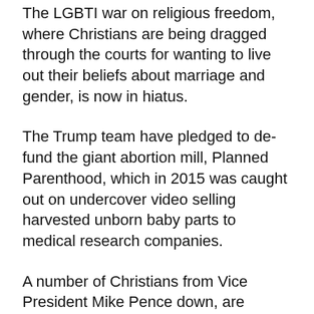The LGBTI war on religious freedom, where Christians are being dragged through the courts for wanting to live out their beliefs about marriage and gender, is now in hiatus.
The Trump team have pledged to de-fund the giant abortion mill, Planned Parenthood, which in 2015 was caught out on undercover video selling harvested unborn baby parts to medical research companies.
A number of Christians from Vice President Mike Pence down, are spread  through the new Administration. Christian lobbyists in this town feel like it is ‘morning in America’ again, to borrow from Ronald Reagan.